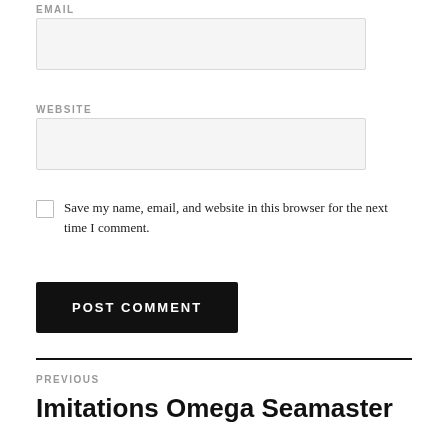EMAIL
WEBSITE
Save my name, email, and website in this browser for the next time I comment.
POST COMMENT
PREVIOUS
Imitations Omega Seamaster